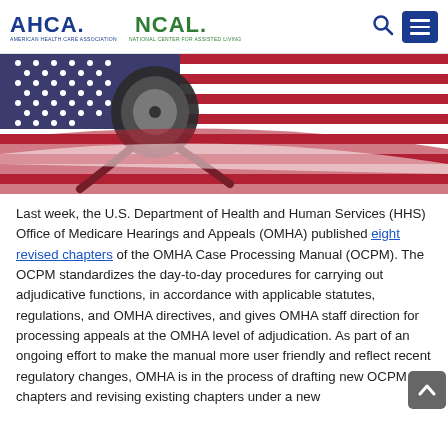AHCA. NCAL — American Health Care Association / National Center for Assisted Living
[Figure (photo): Close-up photo of a stethoscope resting on an American flag with red, white, and blue stripes and white stars.]
Last week, the U.S. Department of Health and Human Services (HHS) Office of Medicare Hearings and Appeals (OMHA) published eight revised chapters of the OMHA Case Processing Manual (OCPM). The OCPM standardizes the day-to-day procedures for carrying out adjudicative functions, in accordance with applicable statutes, regulations, and OMHA directives, and gives OMHA staff direction for processing appeals at the OMHA level of adjudication. As part of an ongoing effort to make the manual more user friendly and reflect recent regulatory changes, OMHA is in the process of drafting new OCPM chapters and revising existing chapters under a new